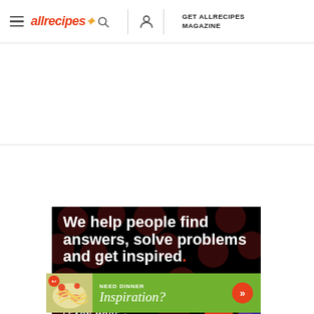allrecipes | GET ALLRECIPES MAGAZINE
[Figure (infographic): Dark advertisement banner with polka dot background. Text reads: 'We help people find answers, solve problems and get inspired.' with a LEARN MORE call to action.]
[Figure (infographic): Green banner advertisement: 'NEED DINNER Inspiration?' with food image on the left and arrow chevrons on the right.]